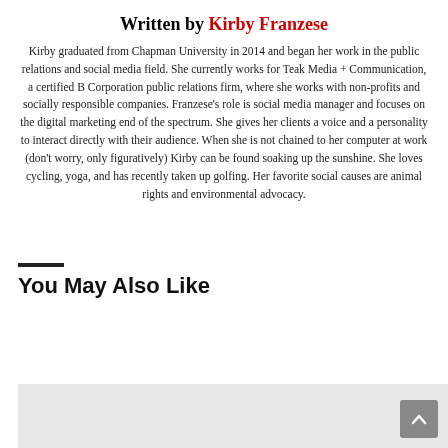Written by Kirby Franzese
Kirby graduated from Chapman University in 2014 and began her work in the public relations and social media field. She currently works for Teak Media + Communication, a certified B Corporation public relations firm, where she works with non-profits and socially responsible companies. Franzese's role is social media manager and focuses on the digital marketing end of the spectrum. She gives her clients a voice and a personality to interact directly with their audience. When she is not chained to her computer at work (don't worry, only figuratively) Kirby can be found soaking up the sunshine. She loves cycling, yoga, and has recently taken up golfing. Her favorite social causes are animal rights and environmental advocacy.
You May Also Like